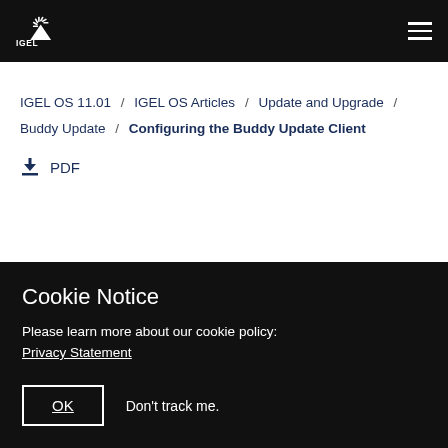IGEL [logo] navigation bar
IGEL OS 11.01 / IGEL OS Articles / Update and Upgrade / Buddy Update / Configuring the Buddy Update Client
PDF
Cookie Notice
Please learn more about our cookie policy: Privacy Statement
OK  Don't track me.